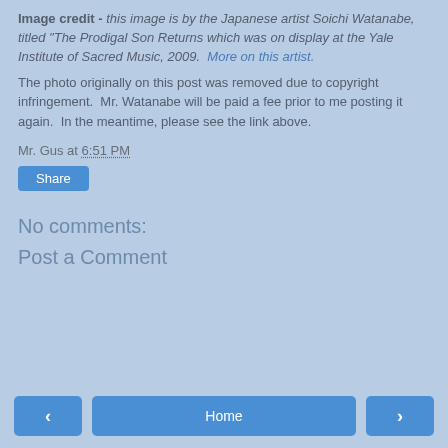Image credit - this image is by the Japanese artist Soichi Watanabe, titled “The Prodigal Son Returns which was on display at the Yale Institute of Sacred Music, 2009.  More on this artist.
The photo originally on this post was removed due to copyright infringement.  Mr. Watanabe will be paid a fee prior to me posting it again.  In the meantime, please see the link above.
Mr. Gus at 6:51 PM
Share
No comments:
Post a Comment
< | Home | >